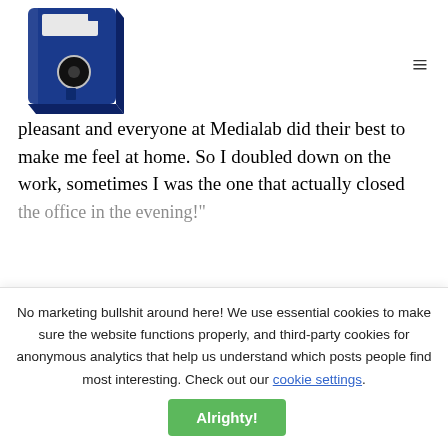[Figure (logo): Blue 3D floppy disk icon logo]
pleasant and everyone at Medialab did their best to make me feel at home. So I doubled down on the work, sometimes I was the one that actually closed the office in the evening!
No marketing bullshit around here! We use essential cookies to make sure the website functions properly, and third-party cookies for anonymous analytics that help us understand which posts people find most interesting. Check out our cookie settings. Alrighty!